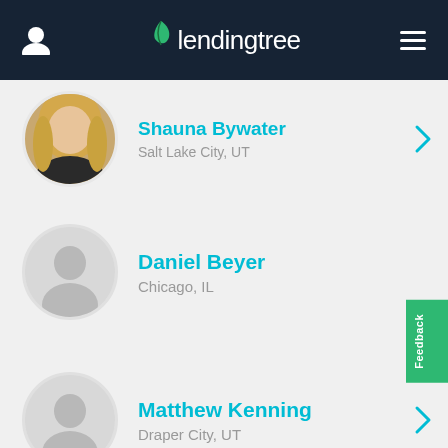lendingtree
Shauna Bywater
Salt Lake City, UT
Daniel Beyer
Chicago, IL
Matthew Kenning
Draper City, UT
Anthony Peck
Salt Lake City, UT